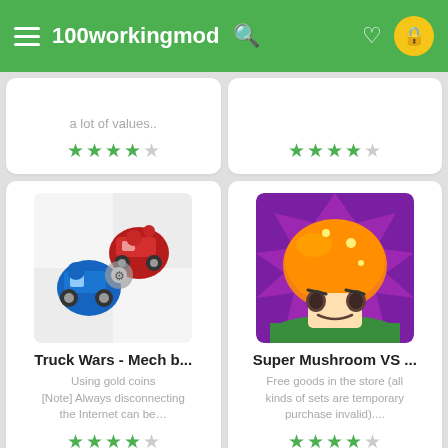100workingmod
a lot of values..
[Figure (screenshot): Truck Wars - Mech battle game icon showing blue and red toy trucks fighting]
Truck Wars - Mech b...
Using gold coins [Note] Always disconnecting the Internet can be…
[Figure (screenshot): Super Mushroom VS game icon showing a large golden mushroom character on grass with purple background]
Super Mushroom VS ...
Free goods in the store (all kinds of sets are temporary purchase invalid)....